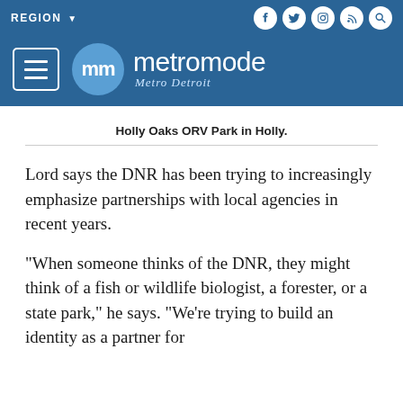REGION ▼ [social icons: facebook, twitter, instagram, rss, search]
[Figure (logo): Metromode Metro Detroit logo with hamburger menu button on blue background]
Holly Oaks ORV Park in Holly.
Lord says the DNR has been trying to increasingly emphasize partnerships with local agencies in recent years.
"When someone thinks of the DNR, they might think of a fish or wildlife biologist, a forester, or a state park," he says. "We're trying to build an identity as a partner for